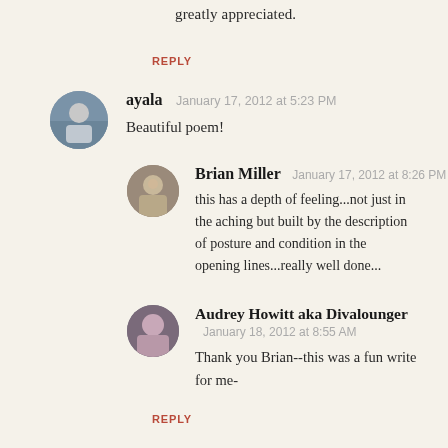greatly appreciated.
REPLY
ayala   January 17, 2012 at 5:23 PM
Beautiful poem!
Brian Miller   January 17, 2012 at 8:26 PM
this has a depth of feeling...not just in the aching but built by the description of posture and condition in the opening lines...really well done...
Audrey Howitt aka Divalounger   January 18, 2012 at 8:55 AM
Thank you Brian--this was a fun write for me-
REPLY